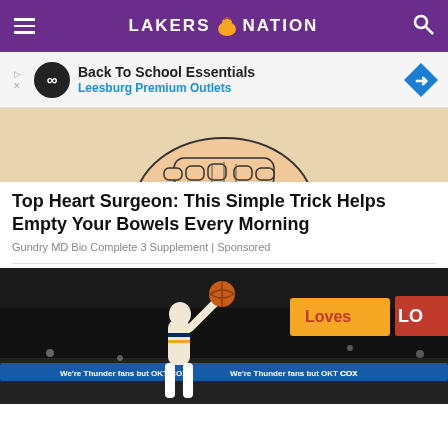LAKERS NATION
[Figure (screenshot): Advertisement banner: Back To School Essentials - Leesburg Premium Outlets]
[Figure (illustration): Cartoon illustration of a heart surgeon character]
Top Heart Surgeon: This Simple Trick Helps Empty Your Bowels Every Morning
Gundry MD Bio Complete 3 Supplement | Sponsored
[Figure (photo): Basketball player shooting a jump shot in an NBA arena, with Loves and Cox advertising boards visible in the background]